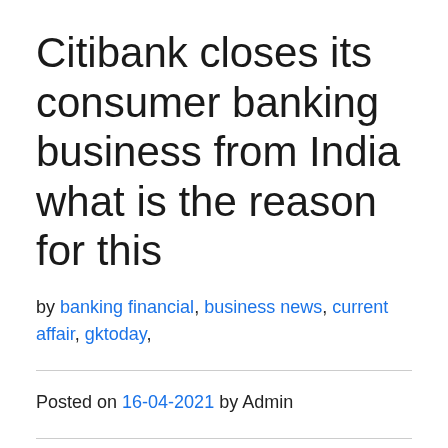Citibank closes its consumer banking business from India what is the reason for this
by banking financial, business news, current affair, gktoday,
Posted on 16-04-2021 by Admin